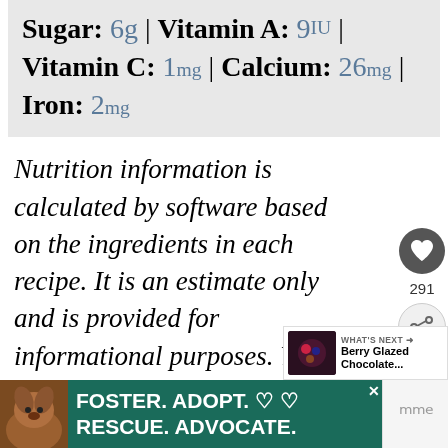Sugar: 6g | Vitamin A: 9IU | Vitamin C: 1mg | Calcium: 26mg | Iron: 2mg
Nutrition information is calculated by software based on the ingredients in each recipe. It is an estimate only and is provided for informational purposes. You should consult your health care provider or a registered dietitian if precise nutrition calculations are needed for health reasons.
[Figure (screenshot): Advertisement banner: Foster. Adopt. Rescue. Advocate. with dog image on teal background]